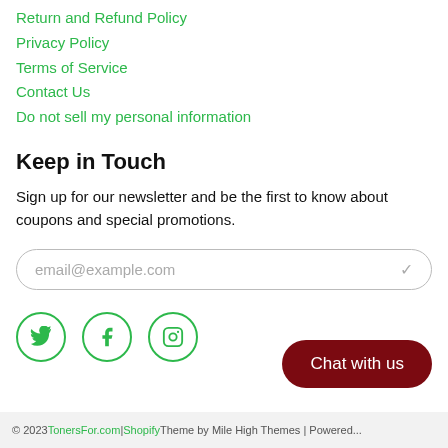Return and Refund Policy
Privacy Policy
Terms of Service
Contact Us
Do not sell my personal information
Keep in Touch
Sign up for our newsletter and be the first to know about coupons and special promotions.
[Figure (other): Email input field with placeholder text 'email@example.com' and a checkmark icon]
[Figure (other): Social media icons: Twitter, Facebook, Instagram — circular green outlined buttons]
Chat with us
© 2023 TonersFor.com | Shopify Theme by Mile High Themes | Powered...